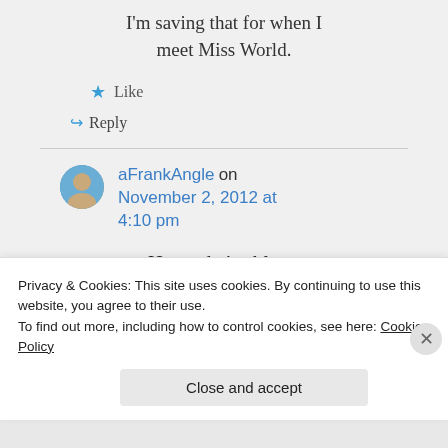I'm saving that for when I meet Miss World.
★ Like
↵ Reply
aFrankAngle on November 2, 2012 at 4:10 pm
Hope she's able to
Privacy & Cookies: This site uses cookies. By continuing to use this website, you agree to their use. To find out more, including how to control cookies, see here: Cookie Policy
Close and accept